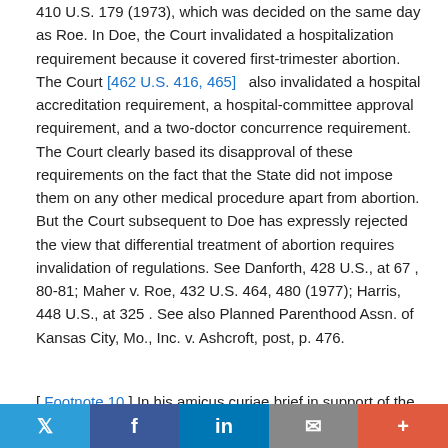410 U.S. 179 (1973), which was decided on the same day as Roe. In Doe, the Court invalidated a hospitalization requirement because it covered first-trimester abortion. The Court [462 U.S. 416, 465] also invalidated a hospital accreditation requirement, a hospital-committee approval requirement, and a two-doctor concurrence requirement. The Court clearly based its disapproval of these requirements on the fact that the State did not impose them on any other medical procedure apart from abortion. But the Court subsequent to Doe has expressly rejected the view that differential treatment of abortion requires invalidation of regulations. See Danforth, 428 U.S., at 67 , 80-81; Maher v. Roe, 432 U.S. 464, 480 (1977); Harris, 448 U.S., at 325 . See also Planned Parenthood Assn. of Kansas City, Mo., Inc. v. Ashcroft, post, p. 476.
[ Footnote 10 ] In his amicus curiae brief in support of the